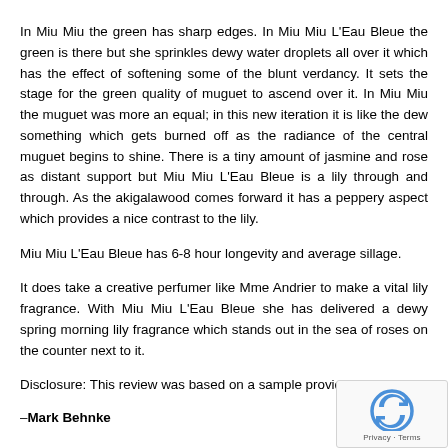In Miu Miu the green has sharp edges. In Miu Miu L'Eau Bleue the green is there but she sprinkles dewy water droplets all over it which has the effect of softening some of the blunt verdancy. It sets the stage for the green quality of muguet to ascend over it. In Miu Miu the muguet was more an equal; in this new iteration it is like the dew something which gets burned off as the radiance of the central muguet begins to shine. There is a tiny amount of jasmine and rose as distant support but Miu Miu L'Eau Bleue is a lily through and through. As the akigalawood comes forward it has a peppery aspect which provides a nice contrast to the lily.
Miu Miu L'Eau Bleue has 6-8 hour longevity and average sillage.
It does take a creative perfumer like Mme Andrier to make a vital lily fragrance. With Miu Miu L'Eau Bleue she has delivered a dewy spring morning lily fragrance which stands out in the sea of roses on the counter next to it.
Disclosure: This review was based on a sample provided by S...
–Mark Behnke